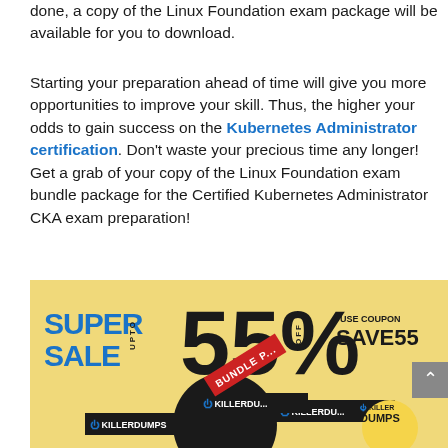done, a copy of the Linux Foundation exam package will be available for you to download.
Starting your preparation ahead of time will give you more opportunities to improve your skill. Thus, the higher your odds to gain success on the Kubernetes Administrator certification. Don't waste your precious time any longer! Get a grab of your copy of the Linux Foundation exam bundle package for the Certified Kubernetes Administrator CKA exam preparation!
[Figure (infographic): Super Sale advertisement banner: 'SUPER SALE UPTO 55% OFF USE COUPON SAVE55' with KillerDumps logo and bundle package cards on a yellow/gold background.]